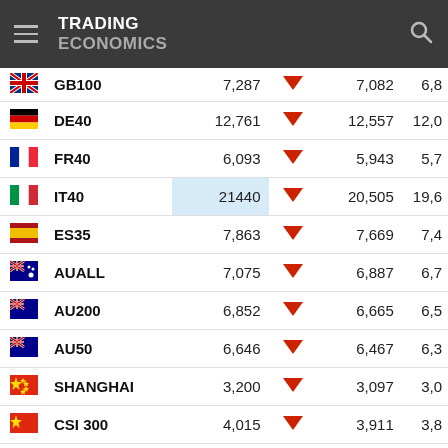TRADING ECONOMICS
| Flag | Index | Value | Direction | Value2 | Value3 |
| --- | --- | --- | --- | --- | --- |
| GB | GB100 | 7,287 | ▼ | 7,082 | 6,8... |
| DE | DE40 | 12,761 | ▼ | 12,557 | 12,0... |
| FR | FR40 | 6,093 | ▼ | 5,943 | 5,7... |
| IT | IT40 | 21440 | ▼ | 20,505 | 19,6... |
| ES | ES35 | 7,863 | ▼ | 7,669 | 7,4... |
| AU | AUALL | 7,075 | ▼ | 6,887 | 6,7... |
| AU | AU200 | 6,852 | ▼ | 6,665 | 6,5... |
| AU | AU50 | 6,646 | ▼ | 6,467 | 6,3... |
| CN | SHANGHAI | 3,200 | ▼ | 3,097 | 3,0... |
| CN | CSI 300 | 4,015 | ▼ | 3,911 | 3,8... |
| CN | SHANGHAI 50 | 2,698 | ▼ | 2,635 | 2,5... |